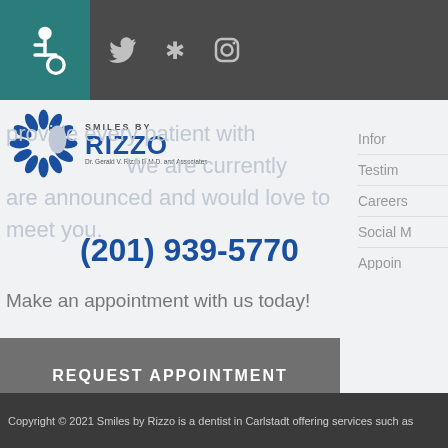Smiles by Rizzo - dental clinic navigation bar with accessibility icon, Twitter, Yelp, Instagram icons
[Figure (logo): Smiles by Rizzo dental clinic logo with circular tooth/snowflake graphic and text 'SMILES BY RIZZO Dr. Gerald V. Rizzo D.M.D. and Associates']
(201) 939-5770
provide every patient with ... We are currently ... are announced and would love to meet you.
Make an appointment with us today!
REQUEST APPOINTMENT
Testimonials
Careers
Social M
Appoin
Copyright © 2021 Smiles by Rizzo is a dentist in Carlstadt offering services such as